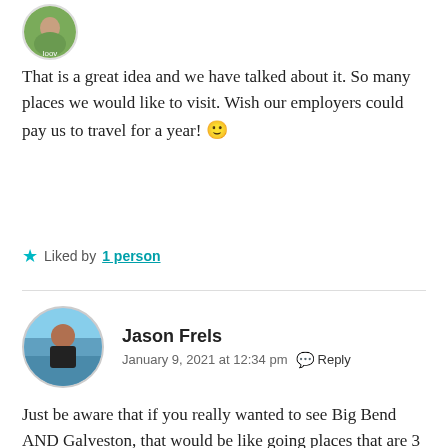[Figure (photo): Circular avatar photo of a person with text 'loov' below, partially visible at top of page]
That is a great idea and we have talked about it. So many places we would like to visit. Wish our employers could pay us to travel for a year! 🙂
★ Liked by 1 person
[Figure (photo): Circular avatar photo of Jason Frels, a man in a black shirt at a beach]
Jason Frels
January 9, 2021 at 12:34 pm · Reply
Just be aware that if you really wanted to see Big Bend AND Galveston, that would be like going places that are 3 or 4 states apart where you live. It is an all day drive from one to the other.